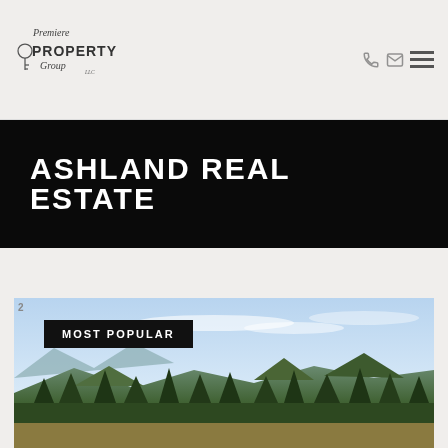[Figure (logo): Premiere Property Group LLC logo in dark serif/script style]
ASHLAND REAL ESTATE
MOST POPULAR
[Figure (photo): Aerial landscape photo showing forested mountains and hills under a blue sky with light clouds]